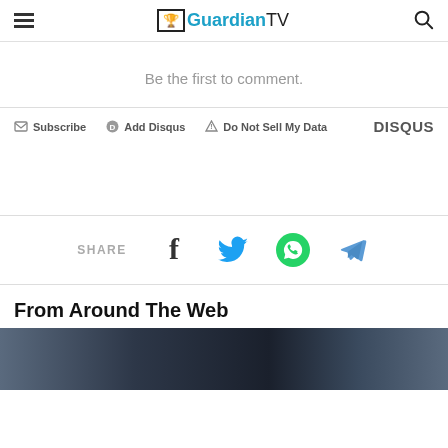GuardianTV
Be the first to comment.
Subscribe  Add Disqus  Do Not Sell My Data  DISQUS
[Figure (infographic): Social share bar with SHARE label and Facebook, Twitter, WhatsApp, Telegram icons]
From Around The Web
[Figure (photo): Partial image strip at bottom of page showing dark photos]